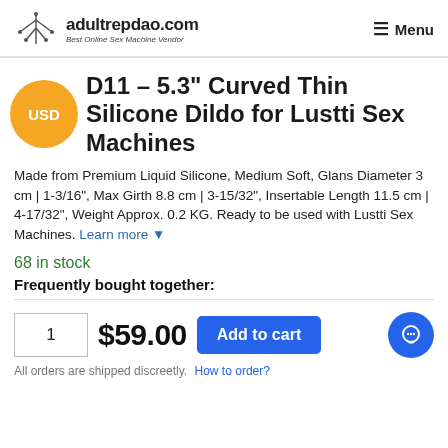adultrepdao.com — Best Online Sex Machine Vendor | Menu
D11 – 5.3" Curved Thin Silicone Dildo for Lustti Sex Machines
Made from Premium Liquid Silicone, Medium Soft, Glans Diameter 3 cm | 1-3/16", Max Girth 8.8 cm | 3-15/32", Insertable Length 11.5 cm | 4-17/32", Weight Approx. 0.2 KG. Ready to be used with Lustti Sex Machines. Learn more ▼
68 in stock
Frequently bought together:
1   $59.00   Add to cart
All orders are shipped discreetly. How to order?